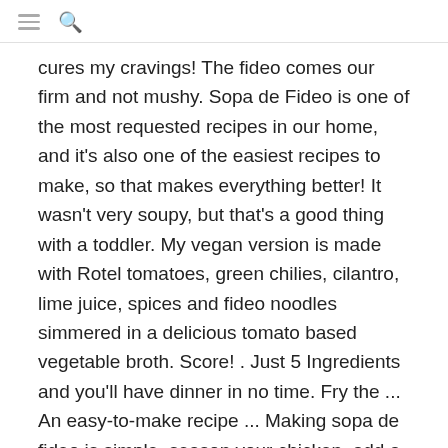≡ 🔍
cures my cravings! The fideo comes our firm and not mushy. Sopa de Fideo is one of the most requested recipes in our home, and it's also one of the easiest recipes to make, so that makes everything better! It wasn't very soupy, but that's a good thing with a toddler. My vegan version is made with Rotel tomatoes, green chilies, cilantro, lime juice, spices and fideo noodles simmered in a delicious tomato based vegetable broth. Score! . Just 5 Ingredients and you'll have dinner in no time. Fry the ... An easy-to-make recipe ... Making sopa de fideo is simple, season your chicken, add a little bit of oil to a pot and saute your chicken, after 2-3 minutes, you'll add in sofrito, tomato sauce, ... Add the remaining broth. My first time having fideo and will DEFINITELY make again. DIRECTIONS. Add oil to a medium pot and cook on LOW-MEDIUM heat. Serve with: This soup is often served at lunch or dinner. It is so easy & delicious!! It's also cheesy and flavorful! I've made it with fideo and I've also made it using whole wheat thin spaghetti. I like a little heat! Updated: Aug 22, 2019 by Mely Martínez. You can also put it in the freezer for 3-4 months. I